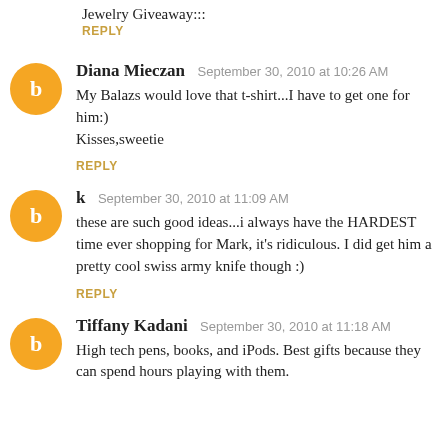Jewelry Giveaway:::
REPLY
Diana Mieczan  September 30, 2010 at 10:26 AM
My Balazs would love that t-shirt...I have to get one for him:)
Kisses,sweetie
REPLY
k  September 30, 2010 at 11:09 AM
these are such good ideas...i always have the HARDEST time ever shopping for Mark, it's ridiculous. I did get him a pretty cool swiss army knife though :)
REPLY
Tiffany Kadani  September 30, 2010 at 11:18 AM
High tech pens, books, and iPods. Best gifts because they can spend hours playing with them.